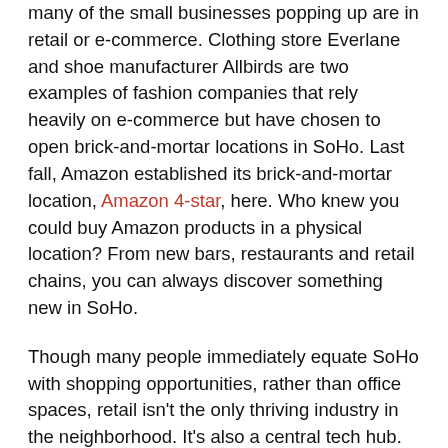many of the small businesses popping up are in retail or e-commerce. Clothing store Everlane and shoe manufacturer Allbirds are two examples of fashion companies that rely heavily on e-commerce but have chosen to open brick-and-mortar locations in SoHo. Last fall, Amazon established its brick-and-mortar location, Amazon 4-star, here. Who knew you could buy Amazon products in a physical location? From new bars, restaurants and retail chains, you can always discover something new in SoHo.
Though many people immediately equate SoHo with shopping opportunities, rather than office spaces, retail isn't the only thriving industry in the neighborhood. It's also a central tech hub. Its prime location in Manhattan, excellent access to transportation, and enviably talented workforce have attracted many technology companies to open a SoHo office in the neighborhood, including widely-known Internet news site and discussion forum Reddit.